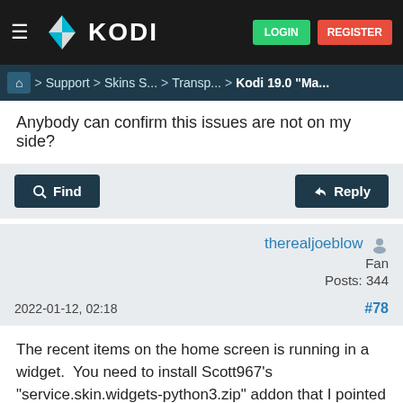KODI — LOGIN   REGISTER
🏠 > Support > Skins S... > Transp... > Kodi 19.0 "Ma...
Anybody can confirm this issues are not on my side?
Find   Reply
therealjoeblow
Fan
Posts: 344
2022-01-12, 02:18
#78
The recent items on the home screen is running in a widget.  You need to install Scott967's "service.skin.widgets-python3.zip" addon that I pointed out in the post above (see Post #14 on this thread for details).  It should be installed from the zip before you